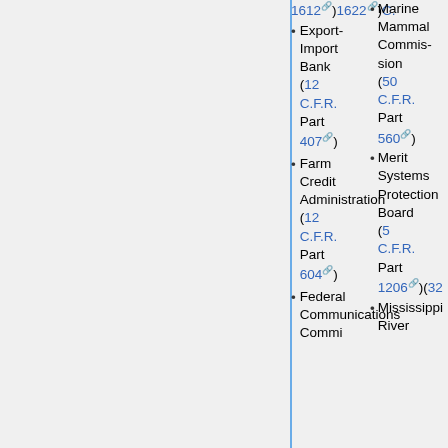1612 1622) C.F.R. Marine Mammal Commission (50 C.F.R. Part 560) Sailb C Uni Ser Uni
Export-Import Bank (12 C.F.R. Part 407)
Farm Credit Administration (12 C.F.R. Part 604)
Federal Communications Commi...
Merit Systems Protection Board (5 C.F.R. Part 1206)(32... of Reg...
Mississippi River Part